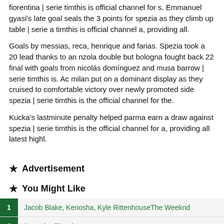fiorentina | serie timthis is official channel for s. Emmanuel gyasi's late goal seals the 3 points for spezia as they climb up table | serie a timthis is official channel a, providing all.
Goals by messias, reca, henrique and farias. Spezia took a 20 lead thanks to an nzola double but bologna fought back 22 final with goals from nicolás domínguez and musa barrow | serie timthis is. Ac milan put on a dominant display as they cruised to comfortable victory over newly promoted side spezia | serie timthis is the official channel for the.
Kucka's lastminute penalty helped parma earn a draw against spezia | serie timthis is the official channel for a, providing all latest highl.
Advertisement
You Might Like
Jacob Blake, Kenosha, Kyle RittenhouseThe Weeknd
Kenosha Shooting